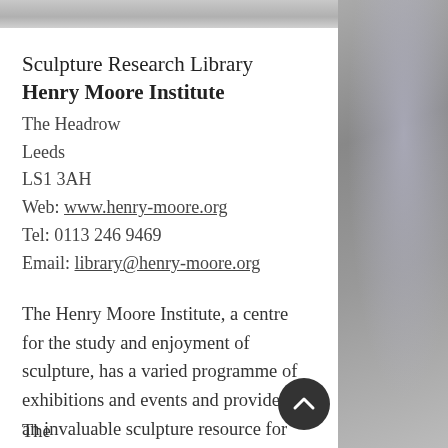[Figure (photo): Gray/stone textured image strip at top of page]
Sculpture Research Library
Henry Moore Institute
The Headrow
Leeds
LS1 3AH
Web: www.henry-moore.org
Tel: 0113 246 9469
Email: library@henry-moore.org
The Henry Moore Institute, a centre for the study and enjoyment of sculpture, has a varied programme of exhibitions and events and provides an invaluable sculpture resource for researchers, students and artists.
The
[Figure (photo): Partial photo of person/sculpture on right side of page]